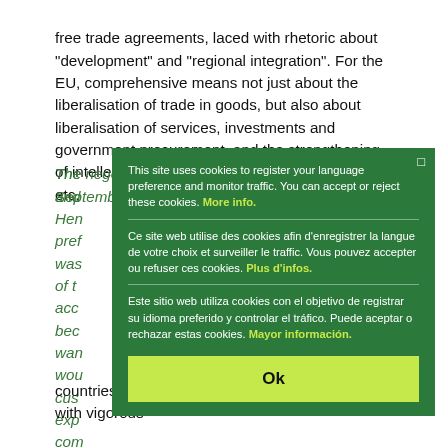free trade agreements, laced with rhetoric about "development" and "regional integration". For the EU, comprehensive means not just about the liberalisation of trade in goods, but also about liberalisation of services, investments and government procurement, and the strengthening of intellectual property rights, competition rules, etc.
The negotiations on these EPAs started in September 2002, and ... Hence ... preferences ... negotiations with ACP countries, and this was ... of the ... accordingly ... because ... want ... would ... customs ... exports ... competition ... Civil society, labour unions and citizens groups in the ACP countries studied the implications and came out with vigorous
[Figure (screenshot): A cookie consent modal overlay on a green background (#2a7a38). Contains three language sections: English: 'This site uses cookies to register your language preference and monitor traffic. You can accept or reject these cookies. More info.' French: 'Ce site web utilise des cookies afin d'enregistrer la langue de votre choix et surveiller le traffic. Vous pouvez accepter ou refuser ces cookies. Plus d'infos.' Spanish: 'Este sitio web utiliza cookies con el objetivo de registrar su idioma preferido y controlar el tráfico. Puede aceptar o rechazar estas cookies. Mayor información.' A green 'Ok' button at the bottom.]